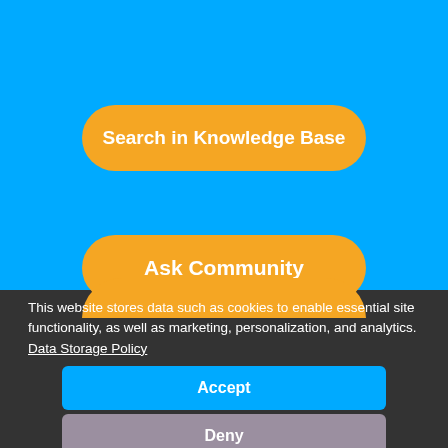[Figure (screenshot): Screenshot of a website support page with a blue background showing two orange rounded buttons labeled 'Search in Knowledge Base' and 'Ask Community', with a partially visible third orange button at the bottom. A dark cookie consent overlay banner covers the lower portion, containing text about data storage and two buttons: 'Accept' (blue) and 'Deny' (gray).]
Search in Knowledge Base
Ask Community
This website stores data such as cookies to enable essential site functionality, as well as marketing, personalization, and analytics. Data Storage Policy
Accept
Deny